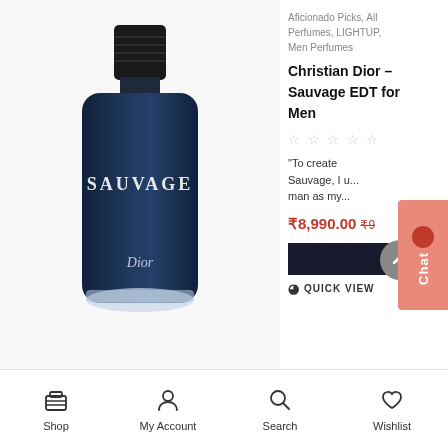[Figure (photo): Dior Sauvage EDT perfume bottle - dark navy blue glass bottle with black cap, 'SAUVAGE' text and 'Dior' script on front]
Aficionado Picks, All Perfumes, LIGHTUP, Men Perfumes
Christian Dior – Sauvage EDT for Men
★★★★★ (empty stars rating)
“To create Sauvage, I u... man as my...”
₹8,990.00 ₹9...
ADD
QUICK VIEW
Shop | My Account | Search | Wishlist